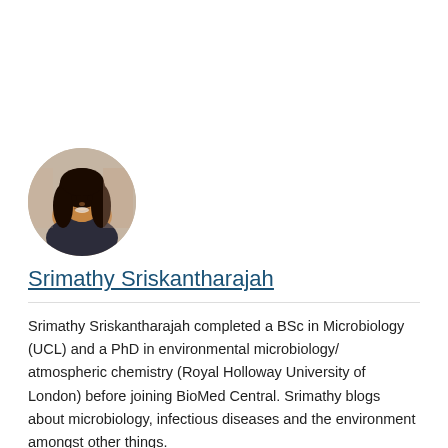[Figure (photo): Circular profile photo of Srimathy Sriskantharajah, a woman with long dark hair, smiling]
Srimathy Sriskantharajah
Srimathy Sriskantharajah completed a BSc in Microbiology (UCL) and a PhD in environmental microbiology/ atmospheric chemistry (Royal Holloway University of London) before joining BioMed Central. Srimathy blogs about microbiology, infectious diseases and the environment amongst other things.